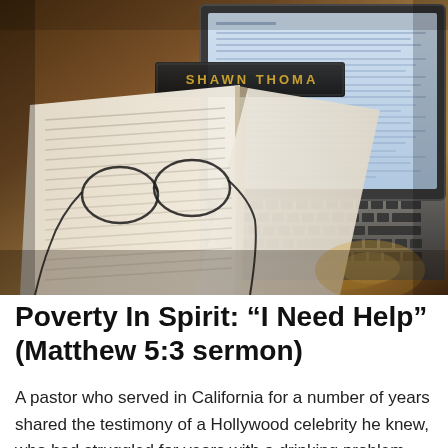[Figure (photo): A desk scene showing an open book with glasses resting on it, a name plate reading 'SHAWN THOMA' (partially visible), and a laptop computer with keyboard in the background, all on a wooden surface.]
Poverty In Spirit: “I Need Help” (Matthew 5:3 sermon)
A pastor who served in California for a number of years shared the testimony of a Hollywood celebrity he knew, who had struggled for years with a drinking problem. But